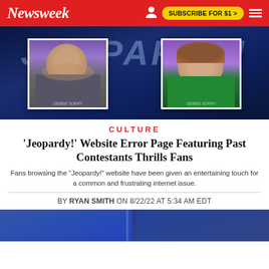Newsweek — SUBSCRIBE FOR $1 >
[Figure (photo): Jeopardy! show logo background with two contestant photos inset — a bald man covering his face with his hands (left) and a woman with short brown hair wearing a green top (right)]
CULTURE
'Jeopardy!' Website Error Page Featuring Past Contestants Thrills Fans
Fans browsing the "Jeopardy!" website have been given an entertaining touch for a common and frustrating internet issue.
BY RYAN SMITH ON 8/22/22 AT 5:34 AM EDT
[Figure (photo): Partial bottom image teaser — appears to show a person on a blue background]